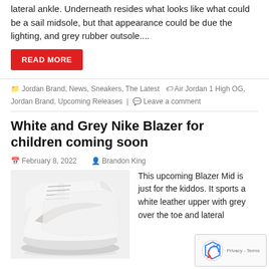lateral ankle. Underneath resides what looks like what could be a sail midsole, but that appearance could be due the lighting, and grey rubber outsole....
READ MORE
Jordan Brand, News, Sneakers, The Latest   Air Jordan 1 High OG, Jordan Brand, Upcoming Releases   Leave a comment
White and Grey Nike Blazer for children coming soon
February 8, 2022   Brandon King
[Figure (photo): White and grey Nike Blazer Mid sneakers for children, showing the side profile with grey swoosh and white leather upper.]
This upcoming Blazer Mid is just for the kiddos. It sports a white leather upper with grey over the toe and lateral